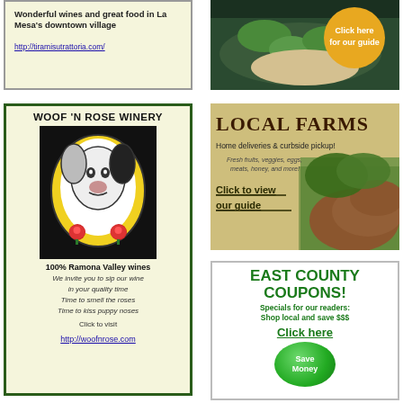[Figure (advertisement): Tiramisu Trattoria ad with text about wonderful wines and great food in La Mesa's downtown village, with link http://tiramisutrattoria.com/]
[Figure (photo): Food photo with green herbs/salad on dark background, with golden circle button saying Click here for our guide]
[Figure (advertisement): Woof N Rose Winery ad with dog logo in black/yellow oval, text about 100% Ramona Valley wines, poem, and link http://woofnrose.com]
[Figure (advertisement): Local Farms ad with text Home deliveries and curbside pickup, Fresh fruits veggies eggs meats honey and more, Click to view our guide, with tomatoes and greens photo]
[Figure (advertisement): East County Coupons ad with green text, Specials for our readers Shop local and save $$$, Click here, and green Save Money button]